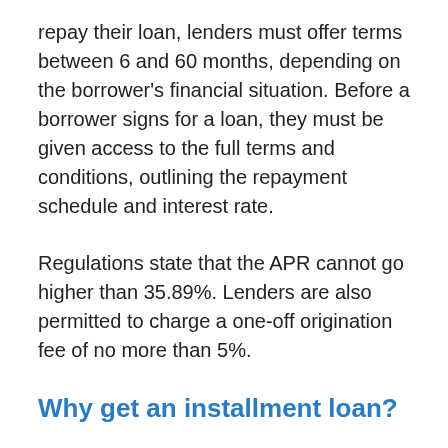repay their loan, lenders must offer terms between 6 and 60 months, depending on the borrower's financial situation. Before a borrower signs for a loan, they must be given access to the full terms and conditions, outlining the repayment schedule and interest rate.
Regulations state that the APR cannot go higher than 35.89%. Lenders are also permitted to charge a one-off origination fee of no more than 5%.
Why get an installment loan?
Installment loans are an increasingly popular choice in Stevinson, CA. They appeal to people because they place great value on providing…